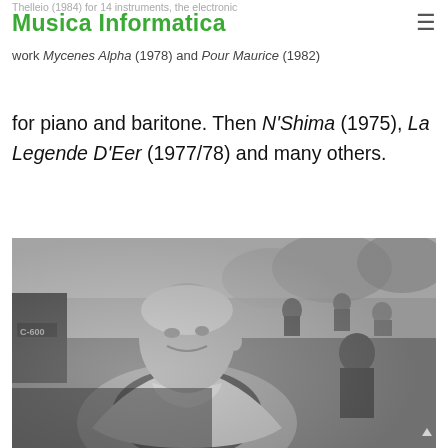Musica Informatica
Thelleio (1984) for 14 instruments, the electronic work Mycenes Alpha (1978) and Pour Maurice (1982) for piano and baritone. Then N'Shima (1975), La Legende D'Eer (1977/78) and many others.
[Figure (photo): Black and white photograph of a man (likely a composer) seated outdoors, smiling slightly, wearing a light jacket and dark shirt. The background shows trees and several people sitting outdoors. The image has a grainy, vintage newspaper quality.]